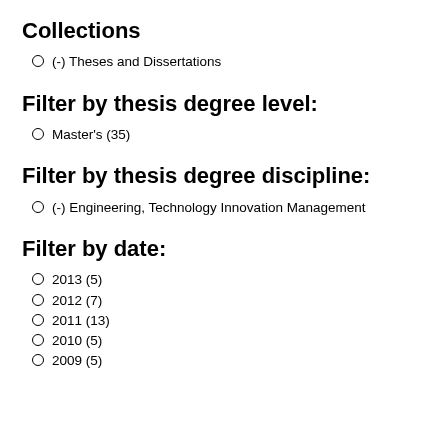Collections
(-) Theses and Dissertations
Filter by thesis degree level:
Master's (35)
Filter by thesis degree discipline:
(-) Engineering, Technology Innovation Management
Filter by date:
2013 (5)
2012 (7)
2011 (13)
2010 (5)
2009 (5)